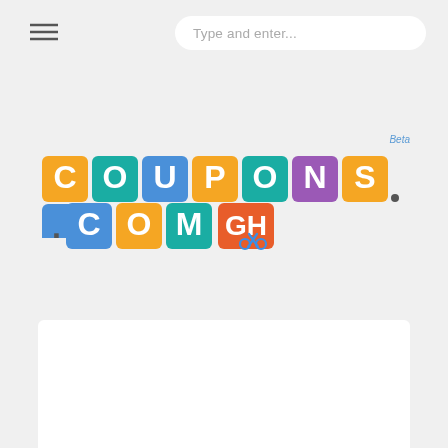[Figure (screenshot): Hamburger menu icon (three horizontal lines)]
[Figure (screenshot): Search input box with placeholder text 'Type and enter...']
[Figure (logo): COUPONS.COM GH logo with colorful letter tiles and scissors icon, with 'Beta' text in blue italic above the GH portion]
[Figure (other): White rectangular content area at the bottom of the page]